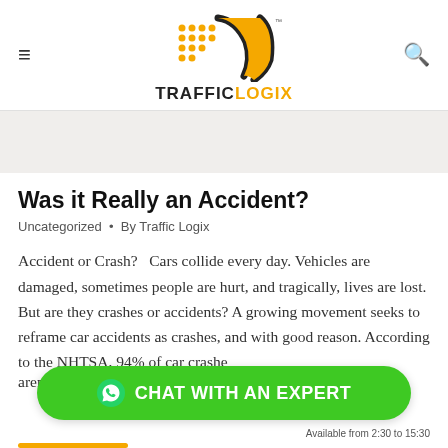TRAFFIC LOGIX
[Figure (illustration): Light beige/grey hero banner image area]
Was it Really an Accident?
Uncategorized • By Traffic Logix
Accident or Crash?   Cars collide every day. Vehicles are damaged, sometimes people are hurt, and tragically, lives are lost. But are they crashes or accidents? A growing movement seeks to reframe car accidents as crashes, and with good reason. According to the NHTSA, 94% of car crashe... aren't...
[Figure (other): Green chat button overlay: CHAT WITH AN EXPERT with WhatsApp icon. Available from 2:30 to 15:30]